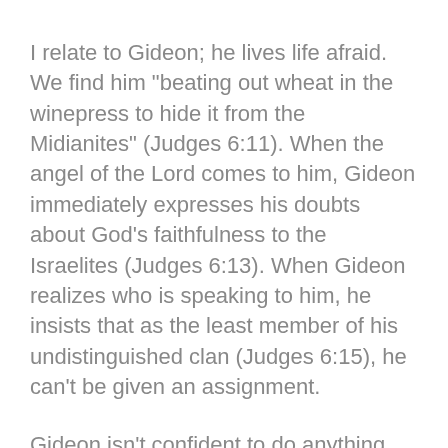I relate to Gideon; he lives life afraid. We find him "beating out wheat in the winepress to hide it from the Midianites" (Judges 6:11). When the angel of the Lord comes to him, Gideon immediately expresses his doubts about God's faithfulness to the Israelites (Judges 6:13). When Gideon realizes who is speaking to him, he insists that as the least member of his undistinguished clan (Judges 6:15), he can't be given an assignment.
Gideon isn't confident to do anything himself. He's fine complaining about how bad things are, but when he is asked to do something to improve the situation, Gideon backs away. It's easier to complain than to act.